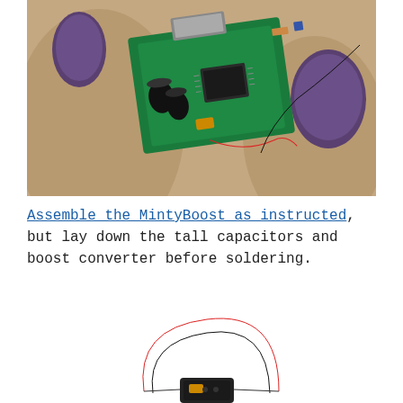[Figure (photo): Close-up photo of a person's fingers with dark purple nail polish holding a small green PCB circuit board (MintyBoost) with capacitors, an IC chip, USB connector, and red/black wires attached.]
Assemble the MintyBoost as instructed, but lay down the tall capacitors and boost converter before soldering.
[Figure (photo): Close-up photo of the bottom of the MintyBoost PCB showing red and black wires looped and connected to a component, viewed from below.]